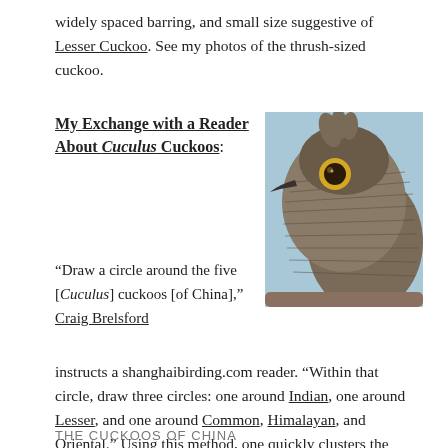widely spaced barring, and small size suggestive of Lesser Cuckoo. See my photos of the thrush-sized cuckoo.
My Exchange with a Reader About Cuculus Cuckoos:
[Figure (photo): Close-up photo of a cuckoo bird head against a light blue sky background, showing brown/grey barred plumage, yellow eye ring, dark beak]
“Draw a circle around the five [Cuculus] cuckoos [of China],” Craig Brelsford instructs a shanghaibirding.com reader. “Within that circle, draw three circles: one around Indian, one around Lesser, and one around Common, Himalayan, and Oriental.” Using this method, one quickly clusters the three main groups of Cuculus in China.
THE CUCKOOS OF CHINA